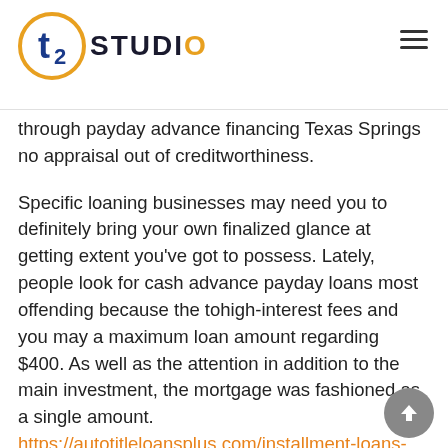T2 STUDIO
through payday advance financing Texas Springs no appraisal out of creditworthiness.
Specific loaning businesses may need you to definitely bring your own finalized glance at getting extent you've got to possess. Lately, people look for cash advance payday loans most offending because the tohigh-interest fees and you may a maximum loan amount regarding $400. As well as the attention in addition to the main investment, the mortgage was fashioned as a single amount. https://autotitleloansplus.com/installment-loans-pa/ However in 2012 one to fund charge are reduced since the advised through the You legislation.
Come back of cash have always been split into half a dozen obligations more 6 months in the place of